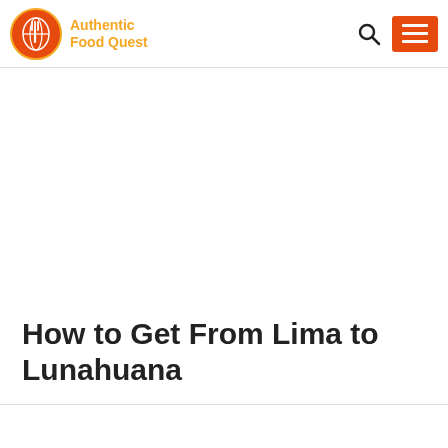Authentic Food Quest
How to Get From Lima to Lunahuana